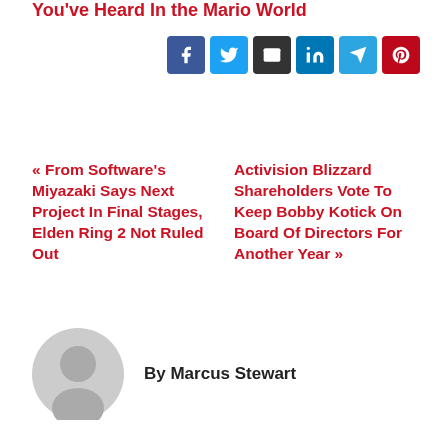You've Heard In the Mario World
[Figure (infographic): Social share buttons: Facebook (blue), Twitter (cyan), Email (dark), LinkedIn (blue), Telegram (blue), Pinterest (red)]
« From Software's Miyazaki Says Next Project In Final Stages, Elden Ring 2 Not Ruled Out
Activision Blizzard Shareholders Vote To Keep Bobby Kotick On Board Of Directors For Another Year »
[Figure (illustration): Generic grey user avatar placeholder image]
By Marcus Stewart